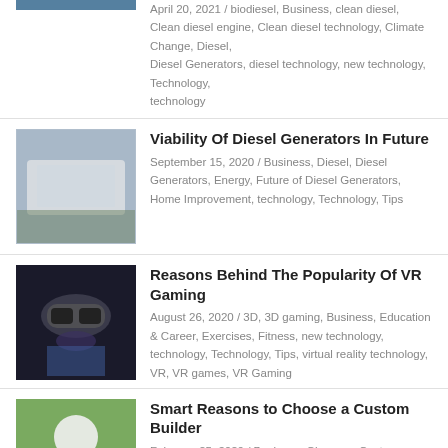[Figure (photo): Partial image at top, cropped blue-toned photo]
April 20, 2021 / biodiesel, Business, clean diesel, Clean diesel engine, Clean diesel technology, Climate Change, Diesel, Diesel Generators, diesel technology, new technology, Technology, technology
[Figure (photo): White diesel generator trailer parked outdoors]
Viability Of Diesel Generators In Future
September 15, 2020 / Business, Diesel, Diesel Generators, Energy, Future of Diesel Generators, Home Improvement, technology, Technology, Tips
[Figure (photo): Person wearing VR headset]
Reasons Behind The Popularity Of VR Gaming
August 26, 2020 / 3D, 3D gaming, Business, Education & Career, Exercises, Fitness, new technology, technology, Technology, Tips, virtual reality technology, VR, VR games, VR Gaming
[Figure (photo): Worker wearing yellow vest and white hard hat]
Smart Reasons to Choose a Custom Builder
February 25, 2020 / Business, Choose a Custom Builder, communities, Control Over Location, Home